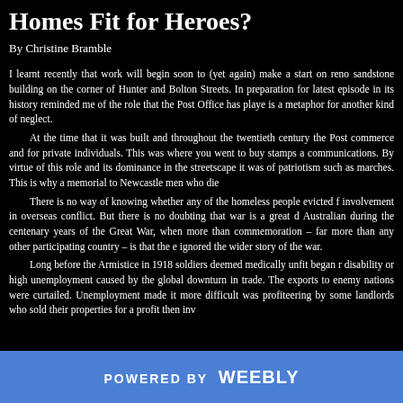Homes Fit for Heroes?
By Christine Bramble
I learnt recently that work will begin soon to (yet again) make a start on reno sandstone building on the corner of Hunter and Bolton Streets. In preparation for latest episode in its history reminded me of the role that the Post Office has playe is a metaphor for another kind of neglect.
	At the time that it was built and throughout the twentieth century the Post commerce and for private individuals. This was where you went to buy stamps a communications. By virtue of this role and its dominance in the streetscape it was of patriotism such as marches. This is why a memorial to Newcastle men who die
	There is no way of knowing whether any of the homeless people evicted f involvement in overseas conflict. But there is no doubting that war is a great d Australian during the centenary years of the Great War, when more than commemoration – far more than any other participating country – is that the e ignored the wider story of the war.
	Long before the Armistice in 1918 soldiers deemed medically unfit began r disability or high unemployment caused by the global downturn in trade. The exports to enemy nations were curtailed. Unemployment made it more difficult was profiteering by some landlords who sold their properties for a profit then inv
POWERED BY weebly